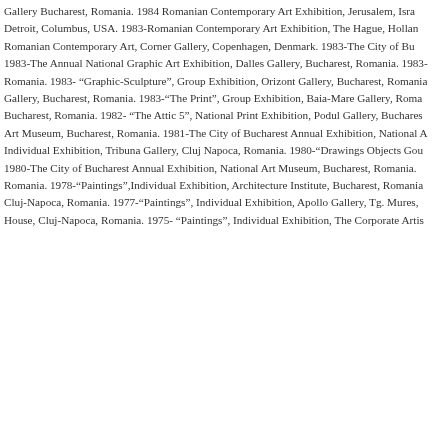Gallery Bucharest, Romania. 1984 Romanian Contemporary Art Exhibition, Jerusalem, Israel. Detroit, Columbus, USA. 1983-Romanian Contemporary Art Exhibition, The Hague, Holland. Romanian Contemporary Art, Corner Gallery, Copenhagen, Denmark. 1983-The City of Bucharest 1983-The Annual National Graphic Art Exhibition, Dalles Gallery, Bucharest, Romania. 1983- Romania. 1983- "Graphic-Sculpture", Group Exhibition, Orizont Gallery, Bucharest, Romania. Gallery, Bucharest, Romania. 1983-"The Print", Group Exhibition, Baia-Mare Gallery, Romania. Bucharest, Romania. 1982- "The Attic 5", National Print Exhibition, Podul Gallery, Bucharest. Art Museum, Bucharest, Romania. 1981-The City of Bucharest Annual Exhibition, National A. Individual Exhibition, Tribuna Gallery, Cluj Napoca, Romania. 1980-"Drawings Objects Gou 1980-The City of Bucharest Annual Exhibition, National Art Museum, Bucharest, Romania. Romania. 1978-"Paintings",Individual Exhibition, Architecture Institute, Bucharest, Romania Cluj-Napoca, Romania. 1977-"Paintings", Individual Exhibition, Apollo Gallery, Tg. Mures, House, Cluj-Napoca, Romania. 1975- "Paintings", Individual Exhibition, The Corporate Artis